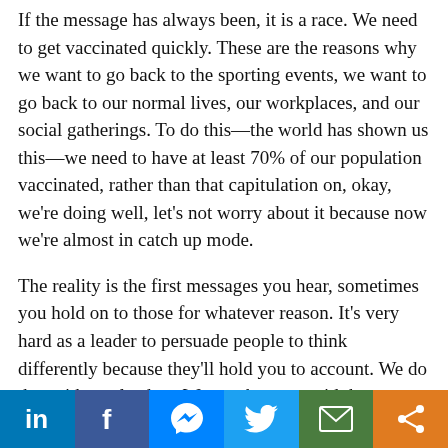If the message has always been, it is a race. We need to get vaccinated quickly. These are the reasons why we want to go back to the sporting events, we want to go back to our normal lives, our workplaces, and our social gatherings. To do this—the world has shown us this—we need to have at least 70% of our population vaccinated, rather than that capitulation on, okay, we're doing well, let's not worry about it because now we're almost in catch up mode.
The reality is the first messages you hear, sometimes you hold on to those for whatever reason. It's very hard as a leader to persuade people to think differently because they'll hold you to account. We do that with our leaders. We say, but you said three months ago, this wasn't a race and it wasn't a big deal to be first. I think it's about knowing the end game and working backwards from there.
[Figure (infographic): Social media sharing bar with LinkedIn, Facebook, Messenger, Twitter, Email, and Share buttons]